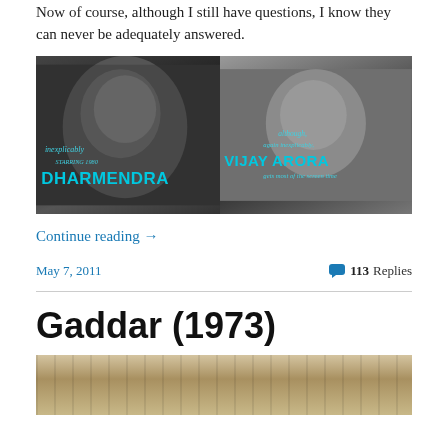Now of course, although I still have questions, I know they can never be adequately answered.
[Figure (photo): Two black and white film stills side by side. Left: man with text overlay 'inexplicably STARRING 1980 DHARMENDRA'. Right: man with text overlay 'although, again inexplicably, VIJAY ARORA gets most of the screen time']
Continue reading →
May 7, 2011
113 Replies
Gaddar (1973)
[Figure (photo): Bottom portion of a sepia-toned film still, showing textured background]